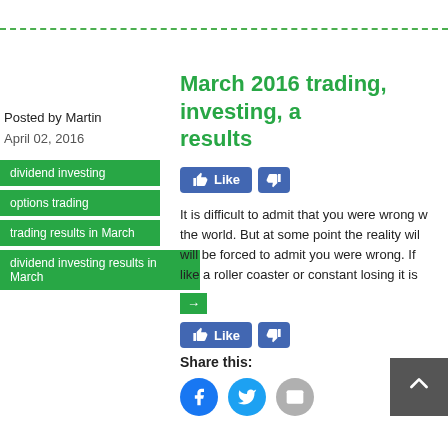Posted by Martin
April 02, 2016
dividend investing
options trading
trading results in March
dividend investing results in March
March 2016 trading, investing, and results
It is difficult to admit that you were wrong about the world. But at some point the reality will… will be forced to admit you were wrong. If like a roller coaster or constant losing it is
→
Share this:
[Figure (other): Facebook Like button and Dislike button (blue)]
[Figure (other): Facebook share icon (blue circle), Twitter share icon (light blue circle), Email share icon (grey circle), Back to top button (grey square with up arrow)]